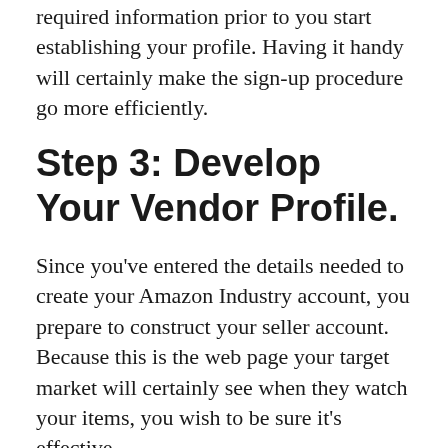required information prior to you start establishing your profile. Having it handy will certainly make the sign-up procedure go more efficiently.
Step 3: Develop Your Vendor Profile.
Since you’ve entered the details needed to create your Amazon Industry account, you prepare to construct your seller account. Because this is the web page your target market will certainly see when they watch your items, you wish to be sure it’s effective.
Your vendor profile must be a total depiction of your firm and also your brand.